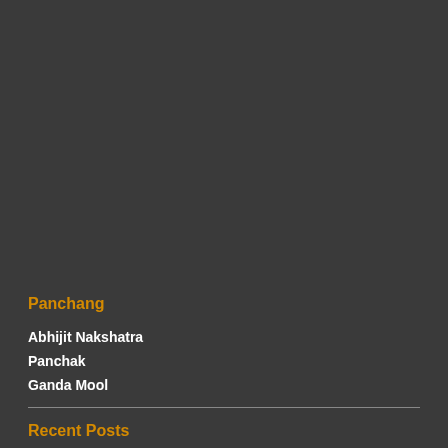Panchang
Abhijit Nakshatra
Panchak
Ganda Mool
Recent Posts